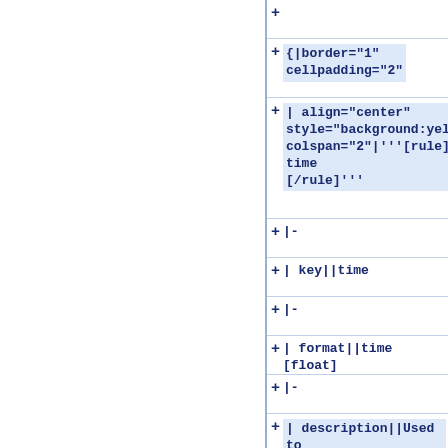+
+ {|border="1" cellpadding="2"
+ | align="center" style="background:yellow" colspan="2"|'''[rule] time [/rule]'''
+|-
+| key||time
+|-
+| format||time [float]
+|-
+| description||Used to identify a time when the rule should be considered.
+|-
+| required||no